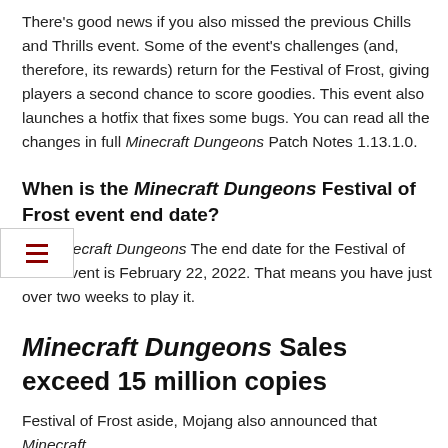There's good news if you also missed the previous Chills and Thrills event. Some of the event's challenges (and, therefore, its rewards) return for the Festival of Frost, giving players a second chance to score goodies. This event also launches a hotfix that fixes some bugs. You can read all the changes in full Minecraft Dungeons Patch Notes 1.13.1.0.
When is the Minecraft Dungeons Festival of Frost event end date?
the Minecraft Dungeons The end date for the Festival of Frost event is February 22, 2022. That means you have just over two weeks to play it.
Minecraft Dungeons Sales exceed 15 million copies
Festival of Frost aside, Mojang also announced that Minecraft Dungeons has surpassed 15 million copies sold, both f...